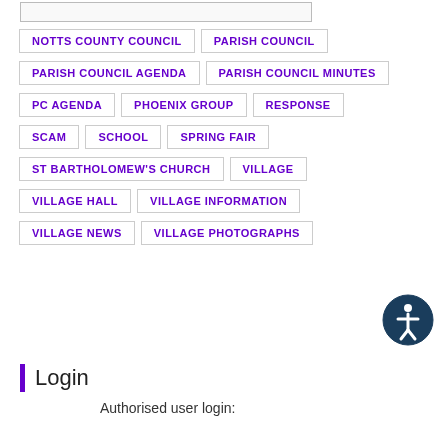NOTTS COUNTY COUNCIL
PARISH COUNCIL
PARISH COUNCIL AGENDA
PARISH COUNCIL MINUTES
PC AGENDA
PHOENIX GROUP
RESPONSE
SCAM
SCHOOL
SPRING FAIR
ST BARTHOLOMEW'S CHURCH
VILLAGE
VILLAGE HALL
VILLAGE INFORMATION
VILLAGE NEWS
VILLAGE PHOTOGRAPHS
Login
Authorised user login: